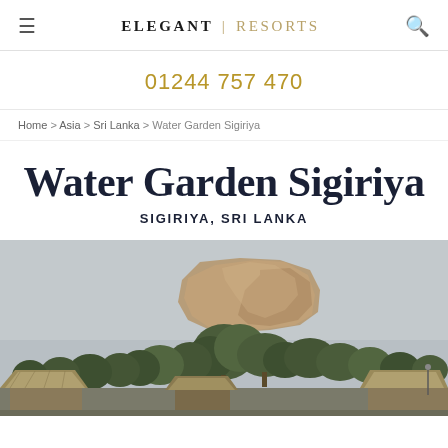ELEGANT | RESORTS
01244 757 470
Home > Asia > Sri Lanka > Water Garden Sigiriya
Water Garden Sigiriya
SIGIRIYA, SRI LANKA
[Figure (photo): Landscape photograph showing thatched-roof bungalows and tropical trees in the foreground, with the iconic Sigiriya rock fortress rising dramatically in the misty background under a hazy grey sky.]